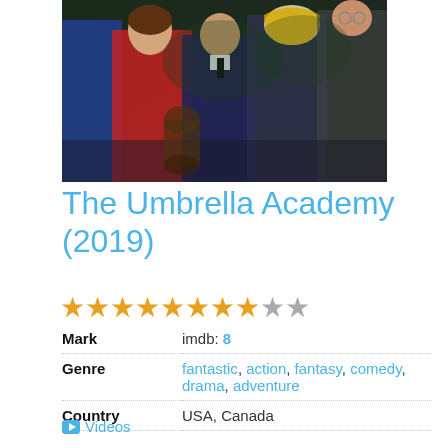[Figure (photo): Promotional image for The Umbrella Academy TV show showing multiple characters in costumes against a dark background]
The Umbrella Academy (2019)
★★★★★★★★☆☆ (8 out of 10 stars)
| Mark | imdb: 8 |
| Genre | fantastic, action, fantasy, comedy, drama, adventure |
| Country | USA, Canada |
🎬 Videos
A dysfunctional family of superheroes comes together to solve the mystery of their father's death, the threat of the apocalypse and more.